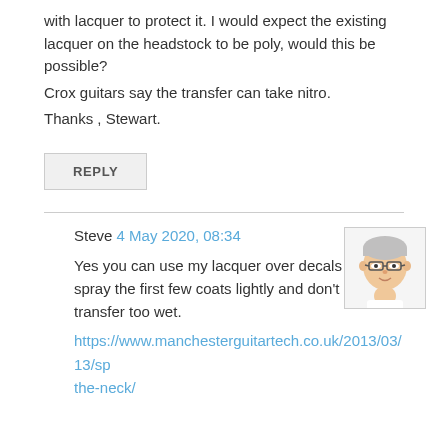with lacquer to protect it. I would expect the existing lacquer on the headstock to be poly, would this be possible?
Crox guitars say the transfer can take nitro.
Thanks , Stewart.
REPLY
Steve 4 May 2020, 08:34
[Figure (illustration): Avatar illustration of a person with glasses and short hair]
Yes you can use my lacquer over decals but best spray the first few coats lightly and don't get the transfer too wet. https://www.manchesterguitartech.co.uk/2013/03/13/sp the-neck/